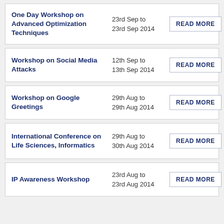One Day Workshop on Advanced Optimization Techniques | 23rd Sep to 23rd Sep 2014 | READ MORE
Workshop on Social Media Attacks | 12th Sep to 13th Sep 2014 | READ MORE
Workshop on Google Greetings | 29th Aug to 29th Aug 2014 | READ MORE
International Conference on Life Sciences, Informatics | 29th Aug to 30th Aug 2014 | READ MORE
IP Awareness Workshop | 23rd Aug to 23rd Aug 2014 | READ MORE